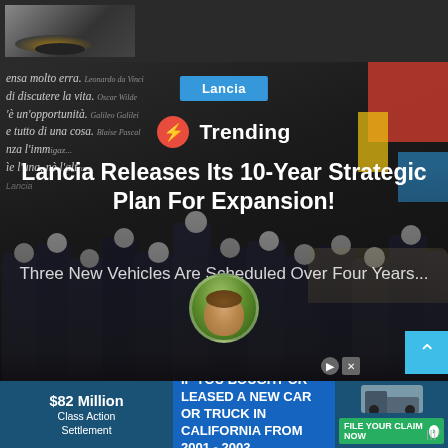[Figure (photo): Top dark bar with a partial image of a car or object on the left side]
[Figure (photo): Large hero image showing a group of Lancia team members in a dark showroom with Italian text on wall in background, colorful artwork on right]
Lancia
⚡ Trending
Lancia Releases Its 10-Year Strategic Plan For Expansion!
Three New Vehicles Are Scheduled Over Four Years...
[Figure (photo): Circular avatar photo of a person, partially visible at bottom of hero image]
$82 Million Class Action Settlement  IF YOU BOUGHT OR LEASED A NEW CAR OR TRUCK IN CALIFORNIA FROM 2001 - 2003  FILE YOUR CLAIM NOW